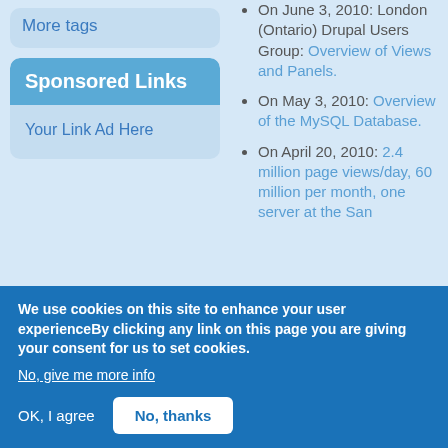More tags
Sponsored Links
Your Link Ad Here
On June 3, 2010: London (Ontario) Drupal Users Group: Overview of Views and Panels.
On May 3, 2010: Overview of the MySQL Database.
On April 20, 2010: 2.4 million page views/day, 60 million per month, one server at the San...
We use cookies on this site to enhance your user experienceBy clicking any link on this page you are giving your consent for us to set cookies.
No, give me more info
OK, I agree
No, thanks